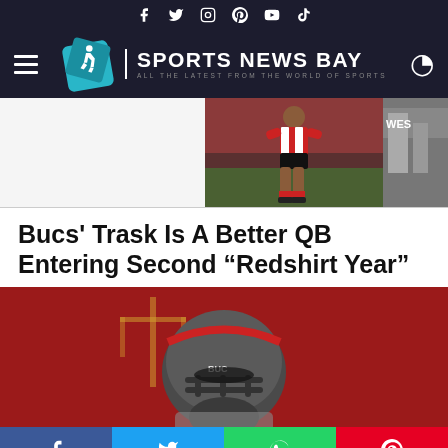Sports News Bay — social icons header bar
[Figure (logo): Sports News Bay logo with hamburger menu, diamond logo icon, site name and dark moon icon on dark background]
[Figure (photo): Sports image strip showing a soccer player in red and white striped kit running, with stadium background, partially cropped]
Bucs' Trask Is A Better QB Entering Second “Redshirt Year”
[Figure (photo): Tampa Bay Buccaneers quarterback wearing pewter helmet on football field with red background]
Social share buttons: Facebook, Twitter, WhatsApp, Pinterest